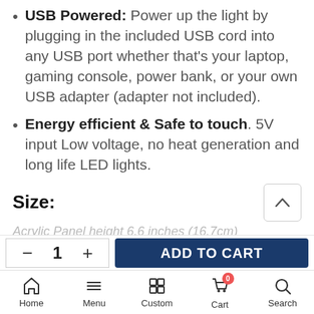USB Powered: Power up the light by plugging in the included USB cord into any USB port whether that's your laptop, gaming console, power bank, or your own USB adapter (adapter not included).
Energy efficient & Safe to touch. 5V input Low voltage, no heat generation and long life LED lights.
Size:
Acrylic Panel height 6.6 inches (16.7cm)
Home | Menu | Custom | Cart 0 | Search